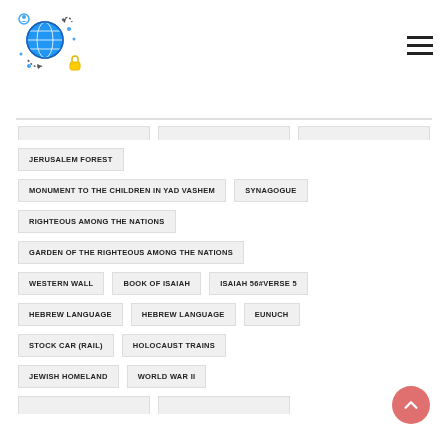[Figure (logo): Globe with arrows icon (website/network logo)]
JERUSALEM FOREST
MONUMENT TO THE CHILDREN IN YAD VASHEM
SYNAGOGUE
RIGHTEOUS AMONG THE NATIONS
GARDEN OF THE RIGHTEOUS AMONG THE NATIONS
WESTERN WALL
BOOK OF ISAIAH
ISAIAH 56#VERSE 5
HEBREW LANGUAGE
HEBREW LANGUAGE
EUNUCH
STOCK CAR (RAIL)
HOLOCAUST TRAINS
JEWISH HOMELAND
WORLD WAR II